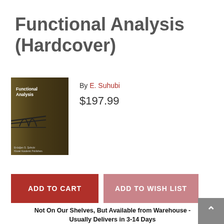Functional Analysis (Hardcover)
[Figure (photo): Book cover of Functional Analysis by E. Suhubi, dark olive/brown cover with title text and decorative lines]
By E. Suhubi
$197.99
ADD TO CART
ADD TO WISH LIST
Not On Our Shelves, But Available from Warehouse - Usually Delivers in 3-14 Days
(Please note: This book cannot be returned.)